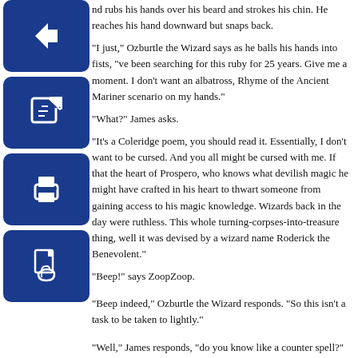[Figure (illustration): Four dark blue square icon buttons with rounded corners stacked vertically on the left side: back arrow, edit/pencil, print, and PDF document icons.]
and rubs his hands over his beard and strokes his chin. He reaches his hand downward but snaps back.
"I just," Ozburtle the Wizard says as he balls his hands into fists, "ve been searching for this ruby for 25 years. Give me a moment. I don’t want an albatross, Rhyme of the Ancient Mariner scenario on my hands."
"What?" James asks.
"It’s a Coleridge poem, you should read it. Essentially, I don’t want to be cursed. And you all might be cursed with me. If that the heart of Prospero, who knows what devilish magic he might have crafted in his heart to thwart someone from gaining access to his magic knowledge. Wizards back in the day were ruthless. This whole turning-corpses-into-treasure thing, well it was devised by a wizard name Roderick the Benevolent."
“Beep!” says ZoopZoop.
“Beep indeed,” Ozburtle the Wizard responds. “So this isn’t a task to be taken to lightly.”
“Well,” James responds, “do you know like a counter spell?”